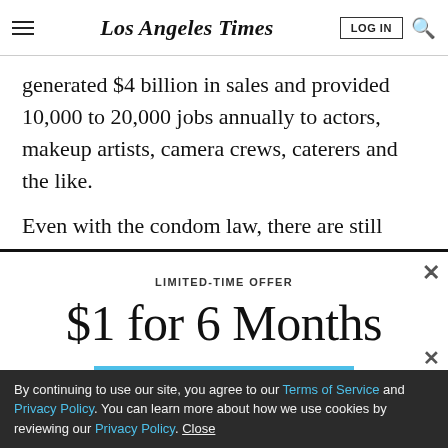Los Angeles Times | LOG IN
generated $4 billion in sales and provided 10,000 to 20,000 jobs annually to actors, makeup artists, camera crews, caterers and the like.
Even with the condom law, there are still options
LIMITED-TIME OFFER
$1 for 6 Months
SUBSCRIBE NOW
By continuing to use our site, you agree to our Terms of Service and Privacy Policy. You can learn more about how we use cookies by reviewing our Privacy Policy. Close